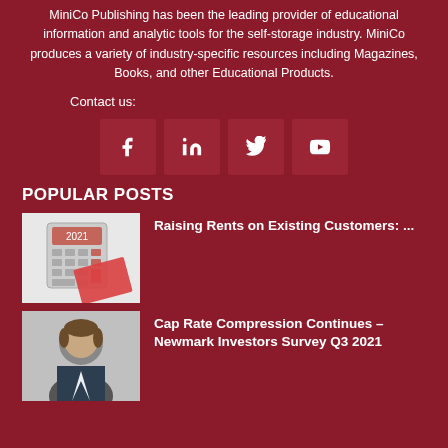MiniCo Publishing has been the leading provider of educational information and analytic tools for the self-storage industry. MiniCo produces a variety of industry-specific resources including Magazines, Books, and other Educational Products.
Contact us:
[Figure (infographic): Four social media icon buttons: Facebook, LinkedIn, Twitter, YouTube on dark red background]
POPULAR POSTS
[Figure (photo): Calculator and red notepad/clipboard image]
Raising Rents on Existing Customers: ...
[Figure (photo): Headshot of a man in a suit]
Cap Rate Compression Continues – Newmark Investors Survey Q3 2021